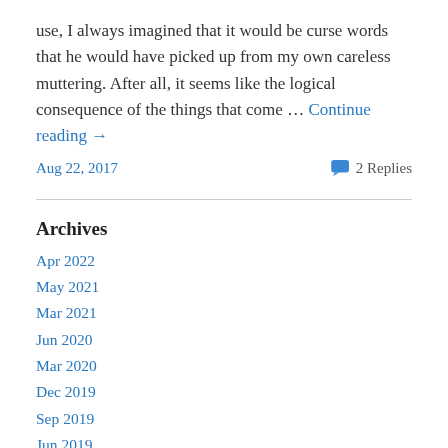use, I always imagined that it would be curse words that he would have picked up from my own careless muttering. After all, it seems like the logical consequence of the things that come … Continue reading →
Aug 22, 2017   💬 2 Replies
Archives
Apr 2022
May 2021
Mar 2021
Jun 2020
Mar 2020
Dec 2019
Sep 2019
Jun 2019